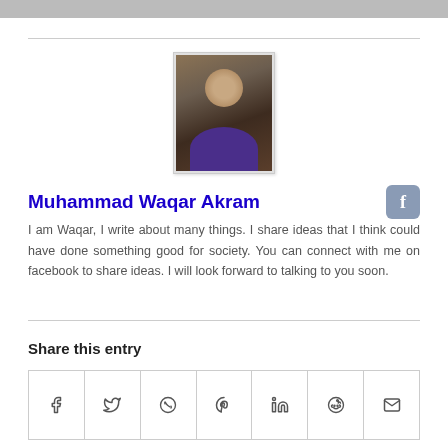[Figure (photo): Top image strip, partial photo cropped at top]
[Figure (photo): Author profile photo of Muhammad Waqar Akram, a young man with glasses wearing a purple shirt]
Muhammad Waqar Akram
I am Waqar, I write about many things. I share ideas that I think could have done something good for society. You can connect with me on facebook to share ideas. I will look forward to talking to you soon.
Share this entry
[Figure (infographic): Share buttons row with icons: facebook, twitter, whatsapp, pinterest, linkedin, reddit, email]